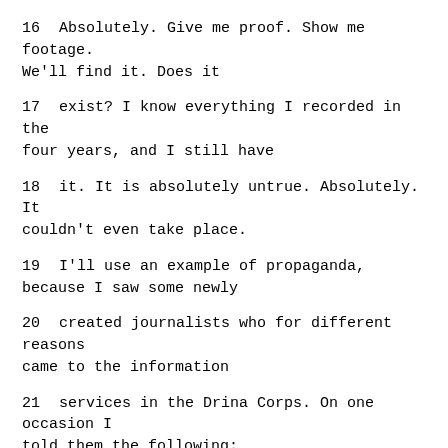16      Absolutely.  Give me proof.  Show me footage.  We'll find it.  Does it
17      exist?  I know everything I recorded in the four years, and I still have
18      it.  It is absolutely untrue.  Absolutely.  It couldn't even take place.
19              I'll use an example of propaganda, because I saw some newly
20      created journalists who for different reasons came to the information
21      services in the Drina Corps.  On one occasion I told them the following:
22      In order for you to understand what propaganda